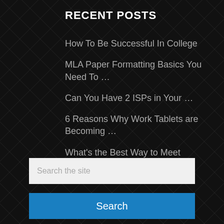RECENT POSTS
How To Be Successful In College
MLA Paper Formatting Basics You Need To …
Can You Have 2 ISPs in Your …
6 Reasons Why Work Tablets are Becoming …
What's the Best Way to Meet Swingers …
Search the site
Search